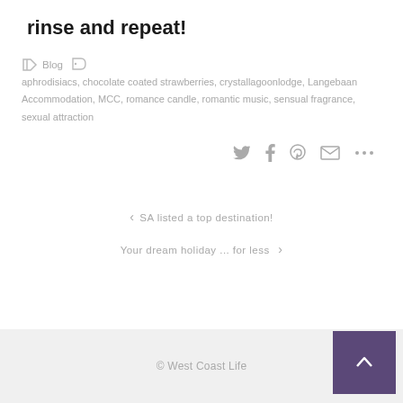rinse and repeat!
Blog  aphrodisiacs, chocolate coated strawberries, crystallagoonlodge, Langebaan Accommodation, MCC, romance candle, romantic music, sensual fragrance, sexual attraction
Share icons: Twitter, Facebook, Pinterest, Email, More
< SA listed a top destination!
Your dream holiday ... for less >
© West Coast Life